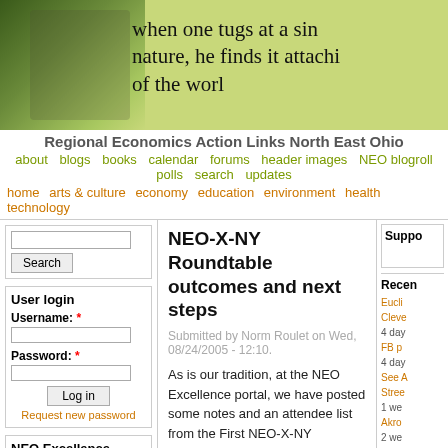[Figure (photo): Website header banner with green/yellow background showing trees and a quote in handwritten font: 'when one tugs at a single strand of nature, he finds it attached to the rest of the world']
Regional Economics Action Links North East Ohio
about  blogs  books  calendar  forums  header images  NEO blogroll  polls  search  updates
home  arts & culture  economy  education  environment  health  technology
Search
User login
Username: *
Password: *
Log in
Request new password
NEO Excellence Roundtable
NEO-X-NY Roundtable outcomes and next steps
Submitted by Norm Roulet on Wed, 08/24/2005 - 12:10.
As is our tradition, at the NEO Excellence portal, we have posted some notes and an attendee list from the First NEO-X-NY Roundtable, in a book bound at http://neoexcellence.realinks.us/NYNY.
Our roundtables are outcome
Suppo
Recen
Eucli
Cleve
4 day
FB p
4 day
See A
Stree
1 we
Akro
2 we